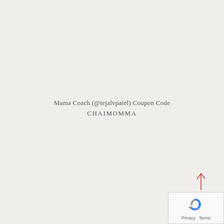Mama Coach (@tejalvpatel) Coupon Code
CHAIMOMMMA
[Figure (other): reCAPTCHA widget with arrow pointing up and Privacy/Terms links]